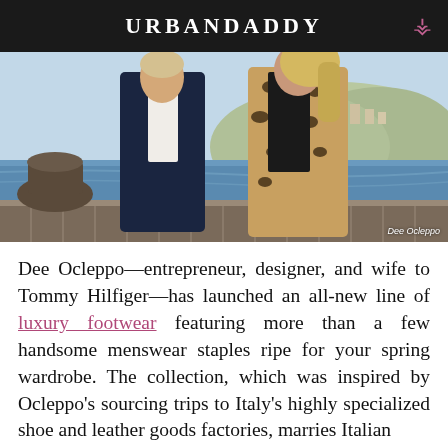URBANDADDY
[Figure (photo): A man in a dark navy suit standing next to a woman wearing a leopard print coat, posing outdoors with a Mediterranean coastal town visible in the background. Photo credit: Dee Ocleppo.]
Dee Ocleppo—entrepreneur, designer, and wife to Tommy Hilfiger—has launched an all-new line of luxury footwear featuring more than a few handsome menswear staples ripe for your spring wardrobe. The collection, which was inspired by Ocleppo's sourcing trips to Italy's highly specialized shoe and leather goods factories, marries Italian